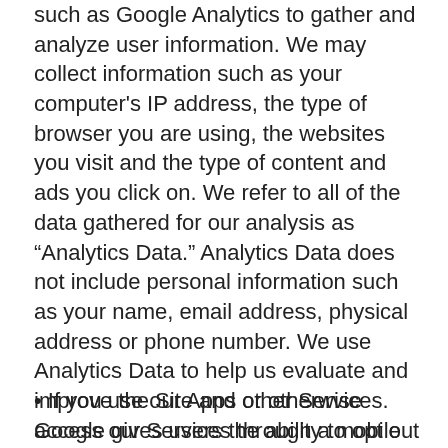such as Google Analytics to gather and analyze user information. We may collect information such as your computer's IP address, the type of browser you are using, the websites you visit and the type of content and ads you click on. We refer to all of the data gathered for our analysis as “Analytics Data.” Analytics Data does not include personal information such as your name, email address, physical address or phone number. We use Analytics Data to help us evaluate and improve the Site and other Services. Google gives users the ability to opt out of its data gathering. If you are interested in finding out more, please see the information provided at https://support.google.com/analytics/answer/181881?hl=en and https://tools.google.com/dlpage/gaoptout. Another way to prevent the collection of Analytics Data is to disable the use of cookies in your browser but the Site and Services may not function as well if you do that.
If you use our Apps or otherwise access our Services through a mobile device, we may collect information such as your mobile device UUID, and the operating system...